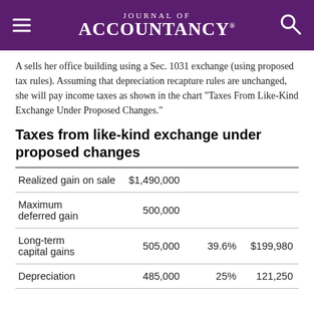Journal of Accountancy
A sells her office building using a Sec. 1031 exchange (using proposed tax rules). Assuming that depreciation recapture rules are unchanged, she will pay income taxes as shown in the chart "Taxes From Like-Kind Exchange Under Proposed Changes."
Taxes from like-kind exchange under proposed changes
|  |  |  |  |
| --- | --- | --- | --- |
| Realized gain on sale | $1,490,000 |  |  |
| Maximum deferred gain | 500,000 |  |  |
| Long-term capital gains | 505,000 | 39.6% | $199,980 |
| Depreciation | 485,000 | 25% | 121,250 |